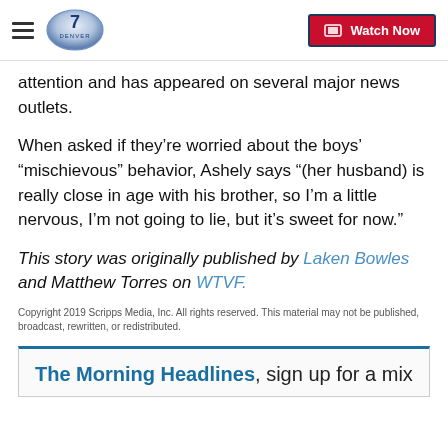Denver7 | Watch Now
attention and has appeared on several major news outlets.
When asked if they’re worried about the boys’ “mischievous” behavior, Ashely says “(her husband) is really close in age with his brother, so I’m a little nervous, I’m not going to lie, but it’s sweet for now.”
This story was originally published by Laken Bowles and Matthew Torres on WTVF.
Copyright 2019 Scripps Media, Inc. All rights reserved. This material may not be published, broadcast, rewritten, or redistributed.
The Morning Headlines, sign up for a mix